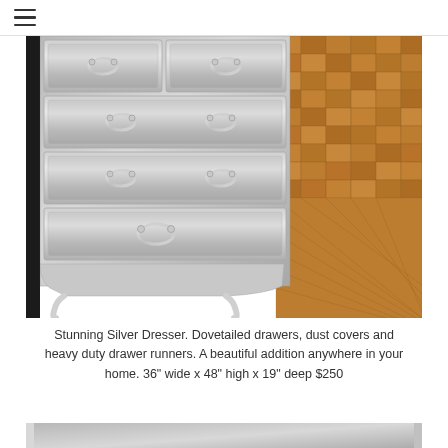[hamburger menu icon]
[Figure (photo): A silver-painted French provincial tall dresser with multiple drawers featuring ornate silver metal drawer pulls, standing on curved legs against a parquet wood floor background.]
Stunning Silver Dresser. Dovetailed drawers, dust covers and heavy duty drawer runners. A beautiful addition anywhere in your home. 36" wide x 48" high x 19" deep $250
[Figure (photo): Partial view of another silver furniture piece at the bottom of the page.]